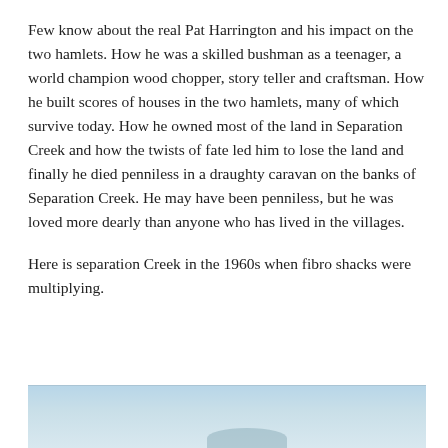Few know about the real Pat Harrington and his impact on the two hamlets. How he was a skilled bushman as a teenager, a world champion wood chopper, story teller and craftsman. How he built scores of houses in the two hamlets, many of which survive today. How he owned most of the land in Separation Creek and how the twists of fate led him to lose the land and finally he died penniless in a draughty caravan on the banks of Separation Creek. He may have been penniless, but he was loved more dearly than anyone who has lived in the villages.
Here is separation Creek in the 1960s when fibro shacks were multiplying.
[Figure (photo): A partial photograph showing a light blue sky with what appears to be a landscape or waterway scene, cropped at the bottom of the page.]